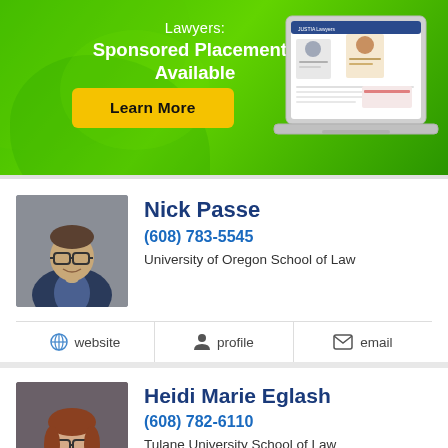[Figure (infographic): Green gradient banner advertisement for Justia Lawyers sponsored placements, with a laptop illustration showing lawyer profiles]
Lawyers: Sponsored Placements Available
Learn More
[Figure (photo): Headshot of Nick Passe, a man with glasses wearing a suit]
Nick Passe
(608) 783-5545
University of Oregon School of Law
website   profile   email
[Figure (photo): Headshot of Heidi Marie Eglash, a woman with glasses and reddish hair]
Heidi Marie Eglash
(608) 782-6110
Tulane University School of Law